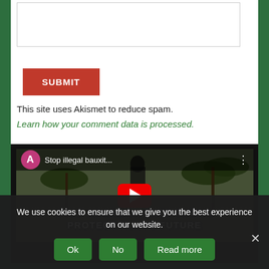[Figure (screenshot): Text area input box (form field)]
SUBMIT
This site uses Akismet to reduce spam. Learn how your comment data is processed.
[Figure (screenshot): YouTube video embed showing 'Stop illegal bauxit...' video with play button and overlay text 'STOP AGGRES... IXITE MINING PROTECT M...A'S FUTURE']
We use cookies to ensure that we give you the best experience on our website.
Ok  No  Read more